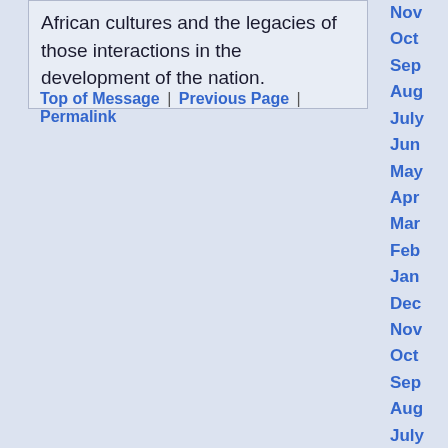African cultures and the legacies of those interactions in the development of the nation.
Top of Message | Previous Page | Permalink
Nov
Oct
Sep
Aug
July
Jun
May
Apr
Mar
Feb
Jan
Dec
Nov
Oct
Sep
Aug
July
Jun
May
Apr
Mar
Feb
Jan
Dec
Nov
Oct
Sep
Aug
July
Jun
May
Apr